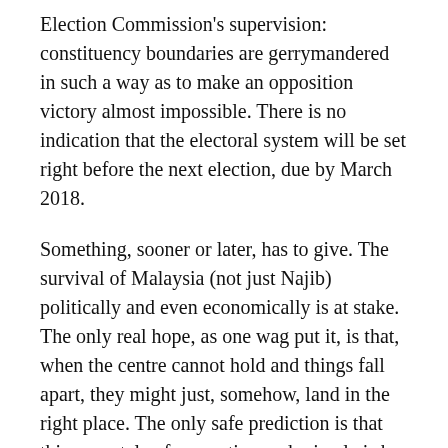Election Commission's supervision: constituency boundaries are gerrymandered in such a way as to make an opposition victory almost impossible. There is no indication that the electoral system will be set right before the next election, due by March 2018.
Something, sooner or later, has to give. The survival of Malaysia (not just Najib) politically and even economically is at stake. The only real hope, as one wag put it, is that, when the centre cannot hold and things fall apart, they might just, somehow, land in the right place. The only safe prediction is that this sorry tale of corruption and misrule is by no means over. Perhaps, indeed, it has only just begun. (From East Asia Forum)
Andrew Harding is professor of law and director of